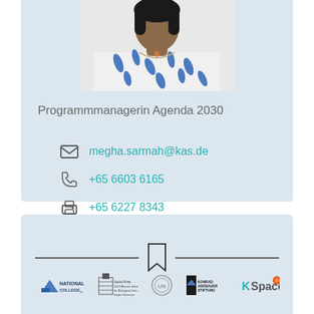[Figure (photo): Photo of a woman wearing a blue and white patterned top, cropped at shoulder level]
Programmmanagerin Agenda 2030
megha.sarmah@kas.de
+65 6603 6165
+65 6227 8343
[Figure (logo): Footer section with bookmark icon divider and partner logos: National College, UNESCO, UN-style emblem, Konrad Adenauer Stiftung, KASSpaces]